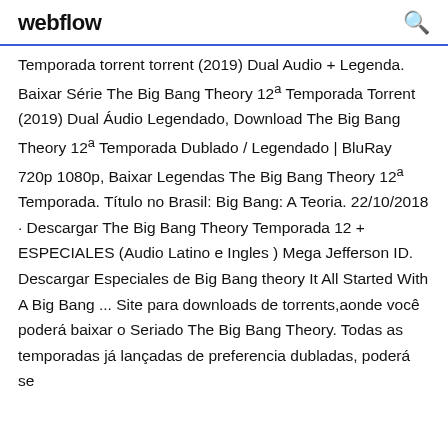webflow
Temporada torrent torrent (2019) Dual Audio + Legenda. Baixar Série The Big Bang Theory 12ª Temporada Torrent (2019) Dual Áudio Legendado, Download The Big Bang Theory 12ª Temporada Dublado / Legendado | BluRay 720p 1080p, Baixar Legendas The Big Bang Theory 12ª Temporada. Título no Brasil: Big Bang: A Teoria. 22/10/2018 · Descargar The Big Bang Theory Temporada 12 + ESPECIALES (Audio Latino e Ingles ) Mega Jefferson ID. Descargar Especiales de Big Bang theory It All Started With A Big Bang ... Site para downloads de torrents,aonde você poderá baixar o Seriado The Big Bang Theory. Todas as temporadas já lançadas de preferencia dubladas, poderá se